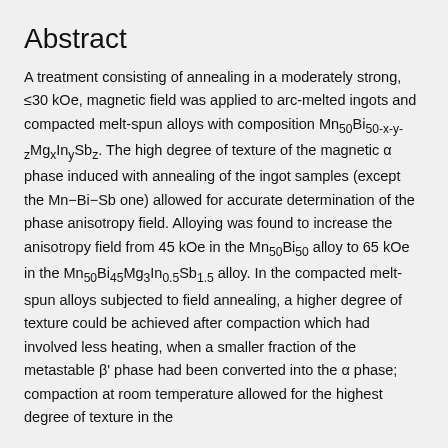Abstract
A treatment consisting of annealing in a moderately strong, ≤30 kOe, magnetic field was applied to arc-melted ingots and compacted melt-spun alloys with composition Mn50Bi50-x-y-zMgxInyBiz. The high degree of texture of the magnetic α phase induced with annealing of the ingot samples (except the Mn−Bi−Sb one) allowed for accurate determination of the phase anisotropy field. Alloying was found to increase the anisotropy field from 45 kOe in the Mn50Bi50 alloy to 65 kOe in the Mn50Bi45Mg3In0.5Sb1.5 alloy. In the compacted melt-spun alloys subjected to field annealing, a higher degree of texture could be achieved after compaction which had involved less heating, when a smaller fraction of the metastable β' phase had been converted into the α phase; compaction at room temperature allowed for the highest degree of texture in the